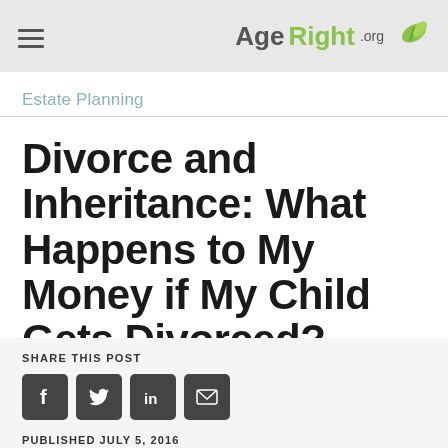AgeRight.org
Estate Planning
Divorce and Inheritance: What Happens to My Money if My Child Gets Divorced?
SHARE THIS POST
PUBLISHED JULY 5, 2016